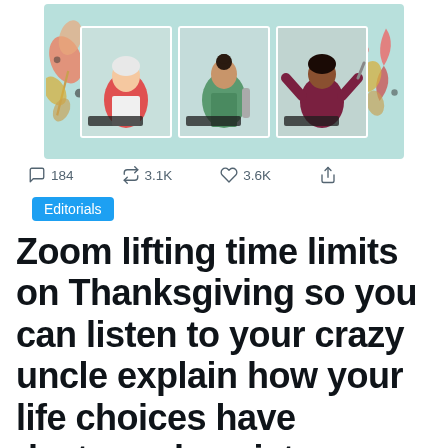[Figure (illustration): A tweet screenshot showing an illustrated image of three people on video call frames against a teal/mint background with decorative floral elements on the sides. Each person appears to be cooking or presenting food.]
184   3.1K   3.6K
Editorials
Zoom lifting time limits on Thanksgiving so you can listen to your crazy uncle explain how your life choices have destroyed society.